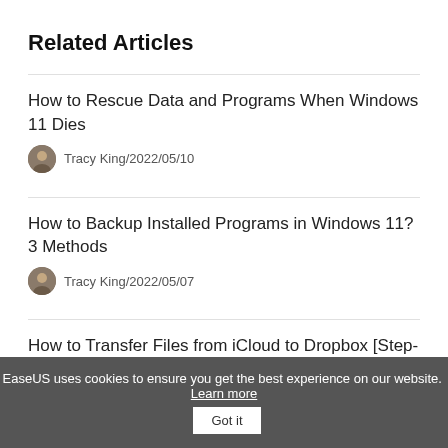Related Articles
How to Rescue Data and Programs When Windows 11 Dies
Tracy King/2022/05/10
How to Backup Installed Programs in Windows 11? 3 Methods
Tracy King/2022/05/07
How to Transfer Files from iCloud to Dropbox [Step-by-step Guide]
EaseUS uses cookies to ensure you get the best experience on our website. Learn more  Got it